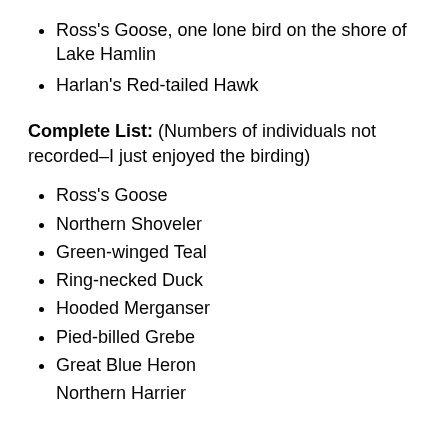Ross's Goose, one lone bird on the shore of Lake Hamlin
Harlan's Red-tailed Hawk
Complete List: (Numbers of individuals not recorded–I just enjoyed the birding)
Ross's Goose
Northern Shoveler
Green-winged Teal
Ring-necked Duck
Hooded Merganser
Pied-billed Grebe
Great Blue Heron
Northern Harrier